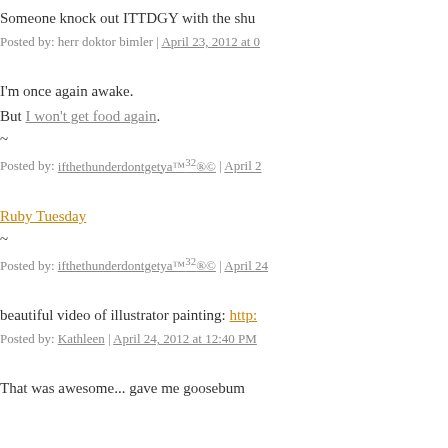Someone knock out ITTDGY with the shu...
Posted by: herr doktor bimler | April 23, 2012 at 0...
I'm once again awake.
But I won't get food again.
~
Posted by: ifthethunderdontgetya™32®© | April 2...
Ruby Tuesday
~
Posted by: ifthethunderdontgetya™32®© | April 24...
beautiful video of illustrator painting: http:...
Posted by: Kathleen | April 24, 2012 at 12:40 PM...
That was awesome... gave me goosebum...